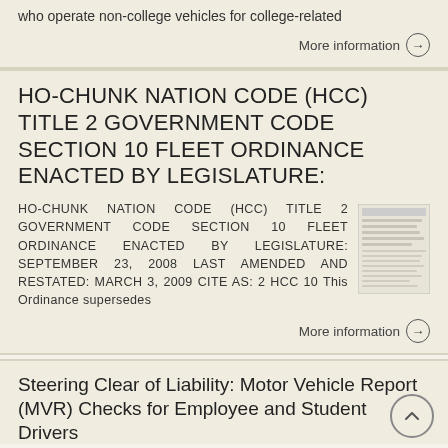who operate non-college vehicles for college-related
More information →
HO-CHUNK NATION CODE (HCC) TITLE 2 GOVERNMENT CODE SECTION 10 FLEET ORDINANCE ENACTED BY LEGISLATURE:
HO-CHUNK NATION CODE (HCC) TITLE 2 GOVERNMENT CODE SECTION 10 FLEET ORDINANCE ENACTED BY LEGISLATURE: SEPTEMBER 23, 2008 LAST AMENDED AND RESTATED: MARCH 3, 2009 CITE AS: 2 HCC 10 This Ordinance supersedes
[Figure (photo): Thumbnail image of a government document page]
More information →
Steering Clear of Liability: Motor Vehicle Report (MVR) Checks for Employee and Student Drivers